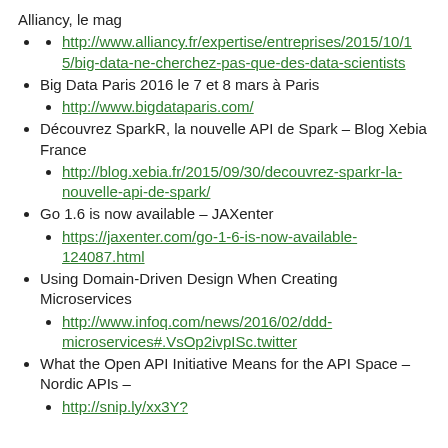Alliancy, le mag
http://www.alliancy.fr/expertise/entreprises/2015/10/15/big-data-ne-cherchez-pas-que-des-data-scientists
Big Data Paris 2016 le 7 et 8 mars à Paris
http://www.bigdataparis.com/
Découvrez SparkR, la nouvelle API de Spark – Blog Xebia France
http://blog.xebia.fr/2015/09/30/decouvrez-sparkr-la-nouvelle-api-de-spark/
Go 1.6 is now available – JAXenter
https://jaxenter.com/go-1-6-is-now-available-124087.html
Using Domain-Driven Design When Creating Microservices
http://www.infoq.com/news/2016/02/ddd-microservices#.VsOp2ivpISc.twitter
What the Open API Initiative Means for the API Space – Nordic APIs –
http://snip.ly/xx3Y?